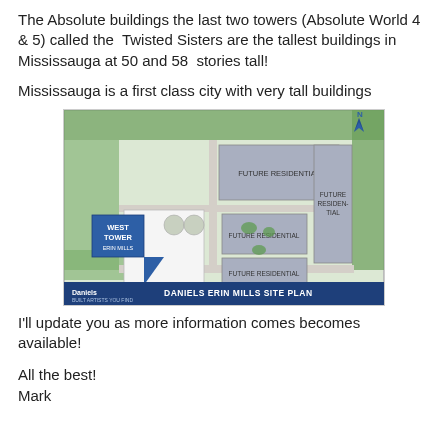The Absolute buildings the last two towers (Absolute World 4 & 5) called the Twisted Sisters are the tallest buildings in Mississauga at 50 and 58 stories tall!
Mississauga is a first class city with very tall buildings
[Figure (map): Daniels Erin Mills Site Plan — aerial plan view showing West Tower, Future Residential blocks, green landscaping, parking areas, and a compass rose. Bottom banner reads: Daniels DANIELS ERIN MILLS SITE PLAN]
I'll update you as more information comes becomes available!
All the best!
Mark